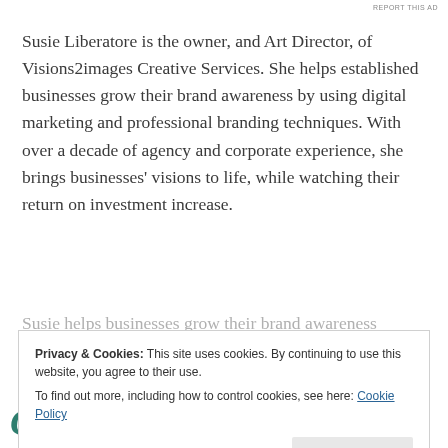REPORT THIS AD
Susie Liberatore is the owner, and Art Director, of Visions2images Creative Services. She helps established businesses grow their brand awareness by using digital marketing and professional branding techniques. With over a decade of agency and corporate experience, she brings businesses' visions to life, while watching their return on investment increase.
Susie helps businesses grow their brand awareness
Privacy & Cookies: This site uses cookies. By continuing to use this website, you agree to their use.
To find out more, including how to control cookies, see here: Cookie Policy
Close and accept
Guide to Win New Clients